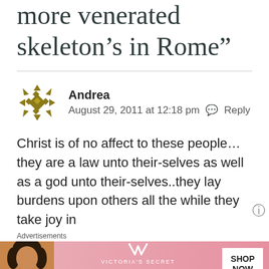more venerated skeleton’s in Rome”
Andrea
August 29, 2011 at 12:18 pm ↗ Reply
Christ is of no affect to these people… they are a law unto their-selves as well as a god unto their-selves..they lay burdens upon others all the while they take joy in
Advertisements
[Figure (other): Victoria's Secret advertisement banner with model photo, VS logo, text 'SHOP THE COLLECTION' and 'SHOP NOW' button]